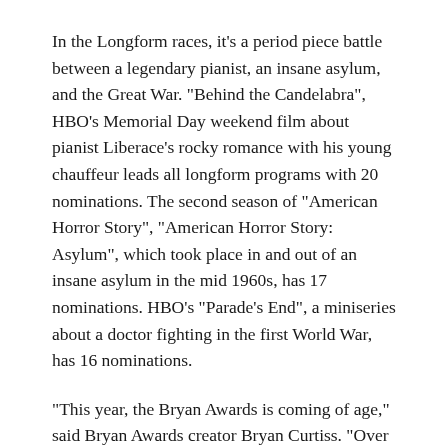In the Longform races, it's a period piece battle between a legendary pianist, an insane asylum, and the Great War. "Behind the Candelabra", HBO's Memorial Day weekend film about pianist Liberace's rocky romance with his young chauffeur leads all longform programs with 20 nominations. The second season of "American Horror Story", "American Horror Story: Asylum", which took place in and out of an insane asylum in the mid 1960s, has 17 nominations. HBO's "Parade's End", a miniseries about a doctor fighting in the first World War, has 16 nominations.
"This year, the Bryan Awards is coming of age," said Bryan Awards creator Bryan Curtiss. "Over the years, there have been shows that have clinged on to the landscape of 'The Bryan Awards', such as 'Gilmore Girls', 'As the World Turns', 'The West Wing', '24', 'Mad Men', and 'Arrested Development'." The latter show returned to Netflix after a seven-year hiatus, failed to make the cut in the Comedy Series race, but gained seven nominations, all in acting.